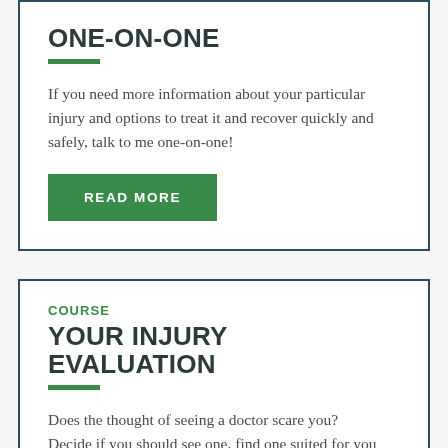ONE-ON-ONE
If you need more information about your particular injury and options to treat it and recover quickly and safely, talk to me one-on-one!
READ MORE
COURSE
YOUR INJURY EVALUATION
Does the thought of seeing a doctor scare you? Decide if you should see one, find one suited for you and get the most from your visit.